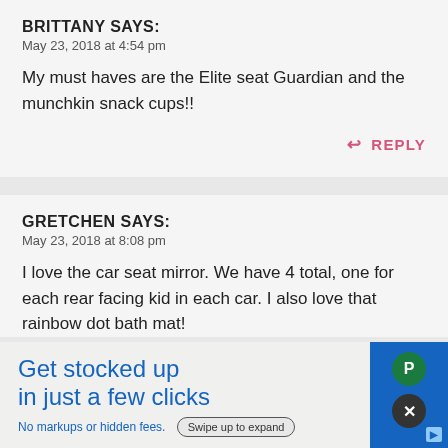BRITTANY SAYS:
May 23, 2018 at 4:54 pm
My must haves are the Elite seat Guardian and the munchkin snack cups!!
↩ REPLY
GRETCHEN SAYS:
May 23, 2018 at 8:08 pm
I love the car seat mirror. We have 4 total, one for each rear facing kid in each car. I also love that rainbow dot bath mat!
[Figure (infographic): Advertisement overlay: blue background with white ad box reading 'Get stocked up in just a few clicks' with 'No markups or hidden fees.' and a 'Swipe up to expand' button. Two circular icon buttons (green P and dark X) on the right side.]